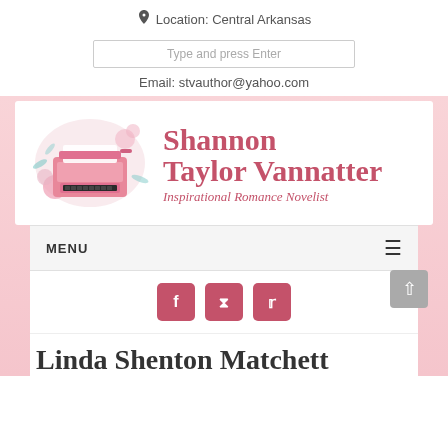Location: Central Arkansas
Type and press Enter
Email: stvauthor@yahoo.com
[Figure (logo): Shannon Taylor Vannatter Inspirational Romance Novelist logo with a pink watercolor typewriter surrounded by flowers]
MENU
[Figure (infographic): Social media buttons: Facebook (f), Pinterest (p), Twitter (t) in pink/rose square buttons]
Linda Shenton Matchett